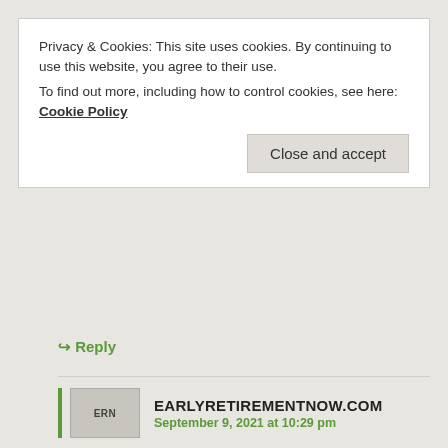Privacy & Cookies: This site uses cookies. By continuing to use this website, you agree to their use.
To find out more, including how to control cookies, see here: Cookie Policy
Close and accept
↪ Reply
EARLYRETIREMENTNOW.COM
September 9, 2021 at 10:29 pm
Yes, saw that paper before. I looked at the smile curves (Figure 7, left side) and it looks like the lines (Y/Y changes) are completely inconsistent with the lines on the right side (levels, normalized to 100 at age 65 ).